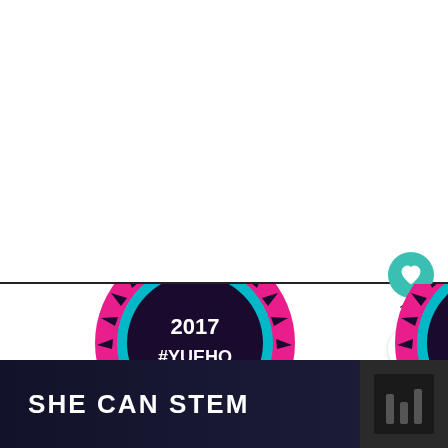[Figure (illustration): White blank area taking up the top portion of the page]
[Figure (illustration): Teal circular like/heart button showing 113 likes, and a share button below it on the right side]
113
[Figure (infographic): WHAT'S NEXT panel with thumbnail and text: Ideas for Days Out with the...]
WHAT'S NEXT
Ideas for Days Out with the...
[Figure (illustration): Two circular badge logos for 2017 and 2016 #YUEHO (partial, cropped at bottom of page)]
SHE CAN STEM